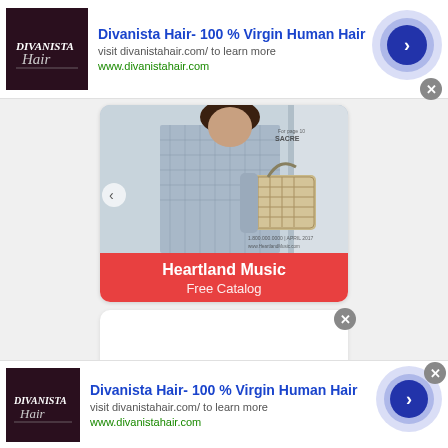[Figure (screenshot): Top advertisement banner for Divanista Hair with dark thumbnail, text, and circular arrow button]
Divanista Hair- 100 % Virgin Human Hair
visit divanistahair.com/ to learn more
www.divanistahair.com
[Figure (photo): Heartland Music free catalog ad showing woman in checkered shirt carrying a woven basket bag]
Heartland Music
Free Catalog
[Figure (screenshot): Second partial card (blank white rounded rectangle) with close X button]
[Figure (screenshot): Bottom advertisement banner for Divanista Hair with dark thumbnail, text, and circular arrow button]
Divanista Hair- 100 % Virgin Human Hair
visit divanistahair.com/ to learn more
www.divanistahair.com